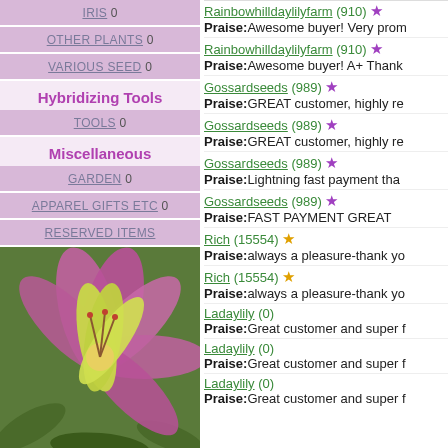IRIS 0
OTHER PLANTS 0
VARIOUS SEED 0
Hybridizing Tools
TOOLS 0
Miscellaneous
GARDEN 0
APPAREL GIFTS ETC 0
RESERVED ITEMS
[Figure (photo): Close-up photo of a daylily flower with yellow-green center petals and pink-purple outer petals against green foliage background]
Rainbowhilldaylilyfarm (910) ★ Praise:Awesome buyer! Very prom...
Rainbowhilldaylilyfarm (910) ★ Praise:Awesome buyer! A+ Thank...
Gossardseeds (989) ★ Praise:GREAT customer, highly re...
Gossardseeds (989) ★ Praise:GREAT customer, highly re...
Gossardseeds (989) ★ Praise:Lightning fast payment tha...
Gossardseeds (989) ★ Praise:FAST PAYMENT GREAT ...
Rich (15554) ★ Praise:always a pleasure-thank yo...
Rich (15554) ★ Praise:always a pleasure-thank yo...
Ladaylily (0) Praise:Great customer and super f...
Ladaylily (0) Praise:Great customer and super f...
Ladaylily (0) Praise:Great customer and super f...